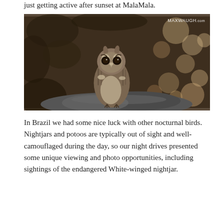just getting active after sunset at MalaMala.
[Figure (photo): An owl (likely a Verreaux's Eagle-Owl or similar large African owl) perched on a rock, photographed at night or low light. The bird faces the camera with prominent dark eyes. Bokeh background of foliage. Watermark reads MAXWAUGH.com in upper right corner.]
In Brazil we had some nice luck with other nocturnal birds. Nightjars and potoos are typically out of sight and well-camouflaged during the day, so our night drives presented some unique viewing and photo opportunities, including sightings of the endangered White-winged nightjar.